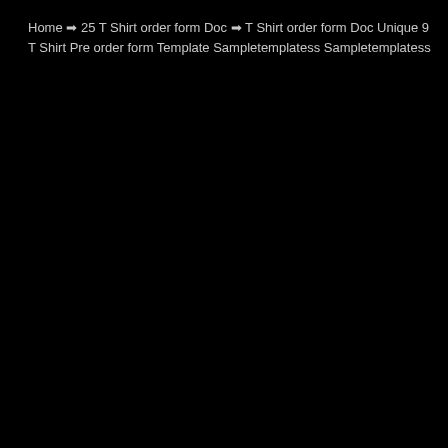Home ➡ 25 T Shirt order form Doc ➡ T Shirt order form Doc Unique 9 T Shirt Pre order form Template Sampletemplatess Sampletemplatess